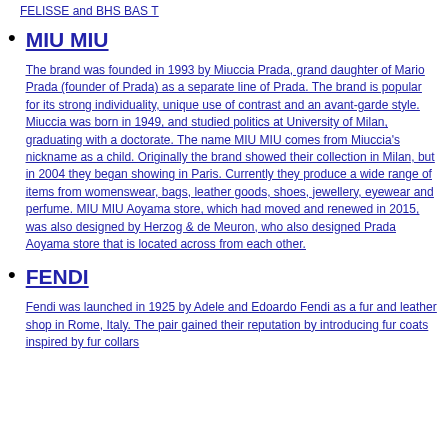FELISSE and BHS BAS T
MIU MIU
The brand was founded in 1993 by Miuccia Prada, grand daughter of Mario Prada (founder of Prada) as a separate line of Prada. The brand is popular for its strong individuality, unique use of contrast and an avant-garde style. Miuccia was born in 1949, and studied politics at University of Milan, graduating with a doctorate. The name MIU MIU comes from Miuccia's nickname as a child. Originally the brand showed their collection in Milan, but in 2004 they began showing in Paris. Currently they produce a wide range of items from womenswear, bags, leather goods, shoes, jewellery, eyewear and perfume. MIU MIU Aoyama store, which had moved and renewed in 2015, was also designed by Herzog & de Meuron, who also designed Prada Aoyama store that is located across from each other.
FENDI
Fendi was launched in 1925 by Adele and Edoardo Fendi as a fur and leather shop in Rome, Italy. The pair gained their reputation by introducing fur coats inspired by fur collars